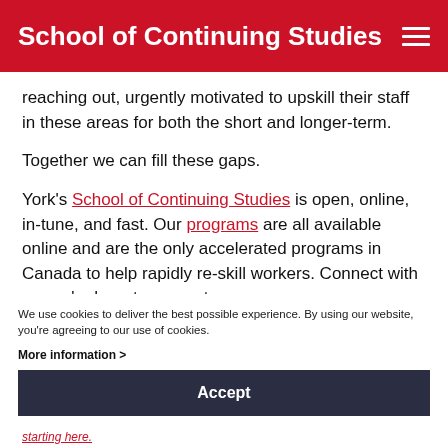School of Continuing Studies
reaching out, urgently motivated to upskill their staff in these areas for both the short and longer-term.
Together we can fill these gaps.
York's School of Continuing Studies is open, online, in-tune, and fast. Our programs are all available online and are the only accelerated programs in Canada to help rapidly re-skill workers. Connect with us, we're here to support you.
We use cookies to deliver the best possible experience. By using our website, you're agreeing to our use of cookies.
More information >
Accept
starting here.